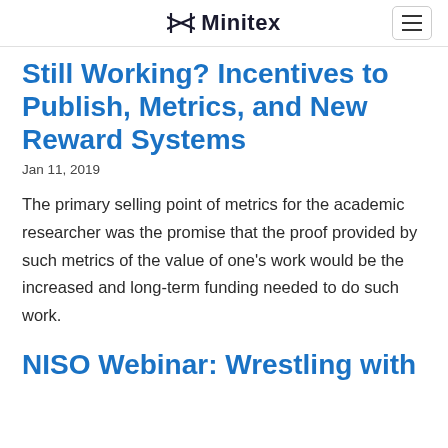Minitex
Still Working? Incentives to Publish, Metrics, and New Reward Systems
Jan 11, 2019
The primary selling point of metrics for the academic researcher was the promise that the proof provided by such metrics of the value of one’s work would be the increased and long-term funding needed to do such work.
NISO Webinar: Wrestling with